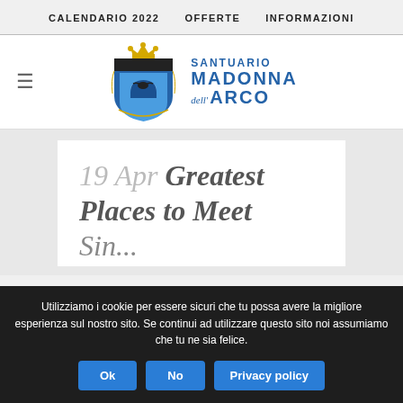CALENDARIO 2022   OFFERTE   INFORMAZIONI
[Figure (logo): Santuario Madonna dell'Arco logo with shield/crest and blue text]
19 Apr Greatest Places to Meet
Utilizziamo i cookie per essere sicuri che tu possa avere la migliore esperienza sul nostro sito. Se continui ad utilizzare questo sito noi assumiamo che tu ne sia felice.
Ok   No   Privacy policy